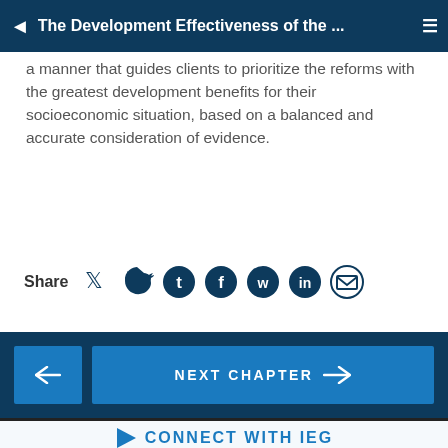The Development Effectiveness of the ...
a manner that guides clients to prioritize the reforms with the greatest development benefits for their socioeconomic situation, based on a balanced and accurate consideration of evidence.
[Figure (infographic): Share row with social media icons: Twitter, Facebook, WhatsApp, LinkedIn, Email]
[Figure (infographic): Navigation buttons: back arrow button and NEXT CHAPTER button with forward arrow]
[Figure (infographic): CONNECT WITH IEG section with play triangle, social media icons (Facebook, LinkedIn, Twitter, YouTube), and SUBSCRIBE TO OUR MAILING LIST input with SIGN UP button]